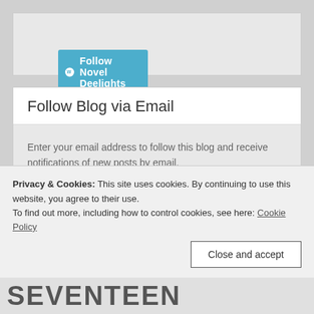[Figure (screenshot): WordPress Follow Novel Deelights button with WordPress logo icon, teal/blue background]
Follow Blog via Email
Enter your email address to follow this blog and receive notifications of new posts by email.
Enter your email address (input field placeholder)
Privacy & Cookies: This site uses cookies. By continuing to use this website, you agree to their use.
To find out more, including how to control cookies, see here: Cookie Policy
Close and accept
[Figure (screenshot): Bottom strip showing partial text SEVENTEEN in bold uppercase letters]